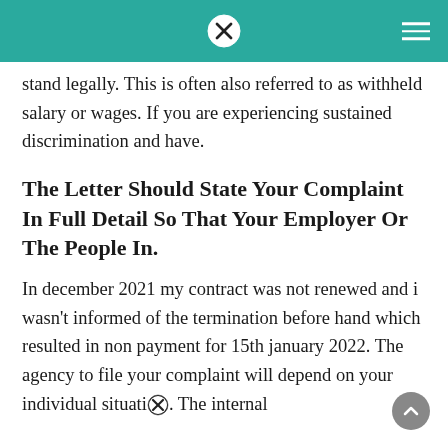[Navigation header with close icon and hamburger menu on teal background]
stand legally. This is often also referred to as withheld salary or wages. If you are experiencing sustained discrimination and have.
The Letter Should State Your Complaint In Full Detail So That Your Employer Or The People In.
In december 2021 my contract was not renewed and i wasn't informed of the termination before hand which resulted in non payment for 15th january 2022. The agency to file your complaint will depend on your individual situation. The internal